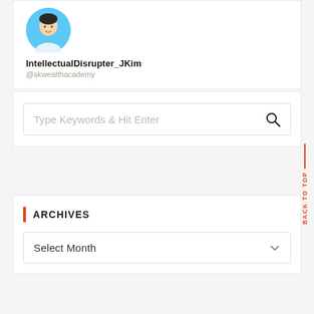[Figure (illustration): Cartoon avatar of a person in a blue circular profile image]
IntellectualDisrupter_JKim
@skwealthacademy
Type Keywords & Hit Enter
ARCHIVES
Select Month